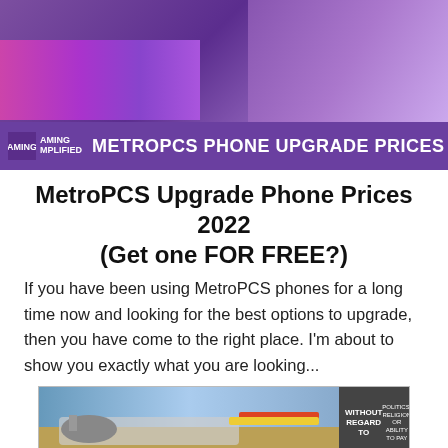[Figure (photo): Hero banner image showing a hand holding a MetroPCS phone with colorful tiles, with a purple banner at the bottom reading 'METROPCS PHONE UPGRADE PRICES 2022' and a Gaming Amplified logo on the left.]
MetroPCS Upgrade Phone Prices 2022 (Get one FOR FREE?)
If you have been using MetroPCS phones for a long time now and looking for the best options to upgrade, then you have come to the right place. I'm about to show you exactly what you are looking...
[Figure (photo): Advertisement banner showing an airplane being loaded with cargo, with text 'WITHOUT REGARD TO POLITICS, RELIGION OR ABILITY TO PAY' on the right side.]